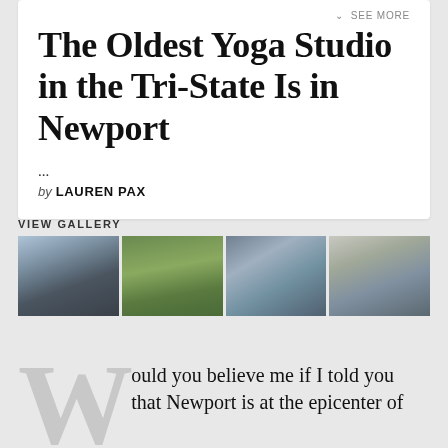SEE MORE
The Oldest Yoga Studio in the Tri-State Is in Newport
...
by LAUREN PAX
VIEW GALLERY
[Figure (photo): Gallery of four photos: yoga class indoors, outdoor yoga session, people with bicycles, yoga class in bright room]
ould you believe me if I told you that Newport is at the epicenter of